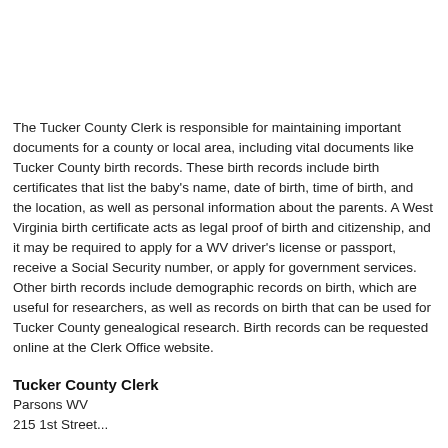The Tucker County Clerk is responsible for maintaining important documents for a county or local area, including vital documents like Tucker County birth records. These birth records include birth certificates that list the baby's name, date of birth, time of birth, and the location, as well as personal information about the parents. A West Virginia birth certificate acts as legal proof of birth and citizenship, and it may be required to apply for a WV driver's license or passport, receive a Social Security number, or apply for government services. Other birth records include demographic records on birth, which are useful for researchers, as well as records on birth that can be used for Tucker County genealogical research. Birth records can be requested online at the Clerk Office website.
Tucker County Clerk
Parsons WV
215 1st Street...